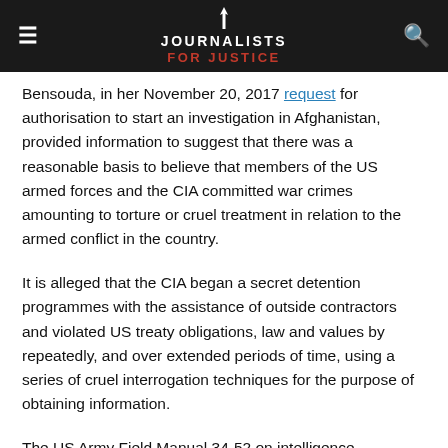JOURNALISTS FOR JUSTICE
Bensouda, in her November 20, 2017 request for authorisation to start an investigation in Afghanistan, provided information to suggest that there was a reasonable basis to believe that members of the US armed forces and the CIA committed war crimes amounting to torture or cruel treatment in relation to the armed conflict in the country.
It is alleged that the CIA began a secret detention programmes with the assistance of outside contractors and violated US treaty obligations, law and values by repeatedly, and over extended periods of time, using a series of cruel interrogation techniques for the purpose of obtaining information.
The US Army Field Manual 34-52 on intelligence interrogation (1992) also provided for the use of abusive...